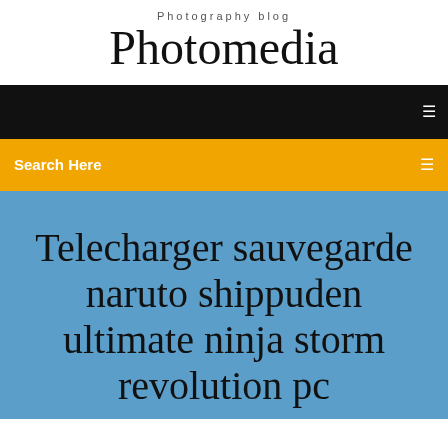Photography blog
Photomedia
[Figure (other): Black navigation bar with a small white icon on the right]
Search Here
Telecharger sauvegarde naruto shippuden ultimate ninja storm revolution pc